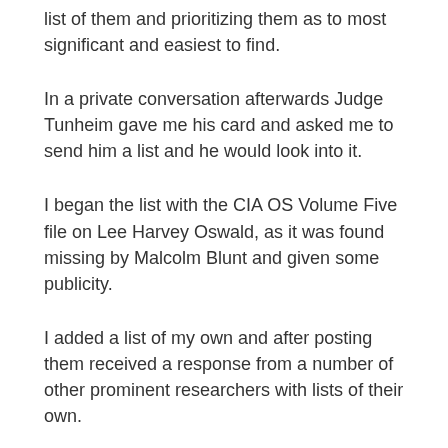list of them and prioritizing them as to most significant and easiest to find.
In a private conversation afterwards Judge Tunheim gave me his card and asked me to send him a list and he would look into it.
I began the list with the CIA OS Volume Five file on Lee Harvey Oswald, as it was found missing by Malcolm Blunt and given some publicity.
I added a list of my own and after posting them received a response from a number of other prominent researchers with lists of their own.
1. Oswald CIA Office of Security File Volume 5, last seen by the House Select Committee on